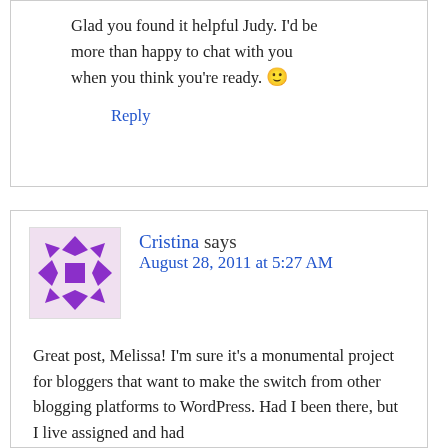Glad you found it helpful Judy. I'd be more than happy to chat with you when you think you're ready. 🙂
Reply
Cristina says August 28, 2011 at 5:27 AM
Great post, Melissa! I'm sure it's a monumental project for bloggers that want to make the switch from other blogging platforms to WordPress. Had I been there, but I live assigned and had